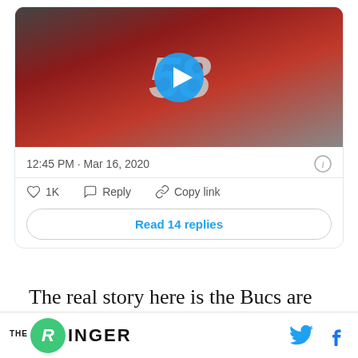[Figure (screenshot): Embedded tweet card with video thumbnail showing NFL player #58 in red Tampa Bay Buccaneers jersey with a play button overlay. Below the video: timestamp '12:45 PM · Mar 16, 2020', an info icon, action buttons (heart 1K, Reply, Copy link), and a 'Read 14 replies' button.]
The real story here is the Bucs are letting Jameis Winston hit free agency. He could still end up back
THE RINGER (logo with Twitter and Facebook icons)